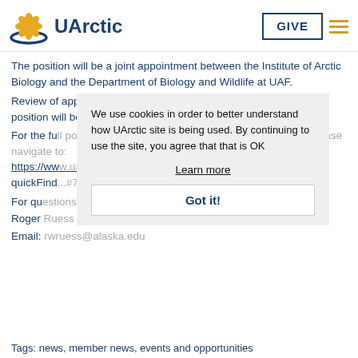[Figure (logo): UArctic logo with flower/sun graphic in gold and blue, text 'UArctic' in dark blue, with GIVE button and hamburger menu]
The position will be a joint appointment between the Institute of Arctic Biology and the Department of Biology and Wildlife at UAF.
Review of applications begins: Saturday, 15 October 2011. The position will be open until filled.
For the fu... please navigate to: https://ww... quickFind...
For questions, please contact:
Roger Ruess
Email: rwruess@alaska.edu
We use cookies in order to better understand how UArctic site is being used. By continuing to use the site, you agree that that is OK
Learn more
Got it!
Tags: news, member news, events and opportunities